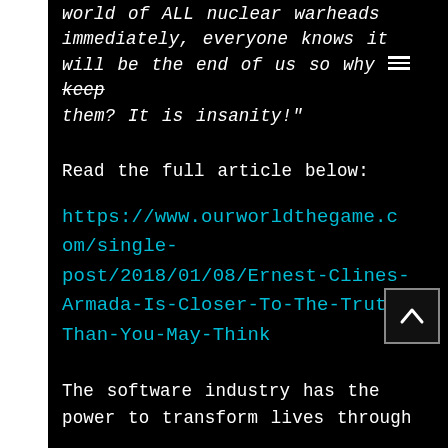world of ALL nuclear warheads immediately, everyone knows it will be the end of us so why keep them? It is insanity!"
Read the full article below:
https://www.ourworldthegame.com/single-post/2018/01/08/Ernest-Clines-Armada-Is-Closer-To-The-Truth-Than-You-May-Think
The software industry has the power to transform lives through